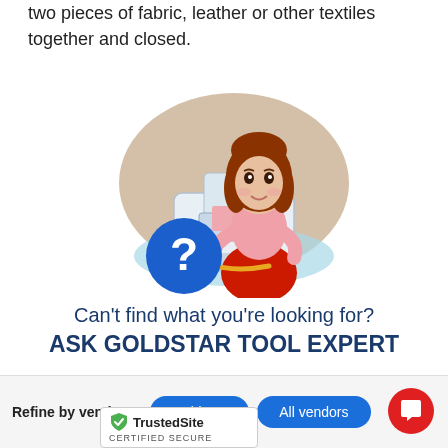two pieces of fabric, leather or other textiles together and closed.
[Figure (illustration): Cartoon illustration of a woman with red hair using a sewing machine, with a blue question mark circle in the foreground]
Can't find what you're looking for?
ASK GOLDSTAR TOOL EXPERT
Refine by vendor:
GoldStar
All vendors
[Figure (logo): TrustedSite CERTIFIED SECURE badge]